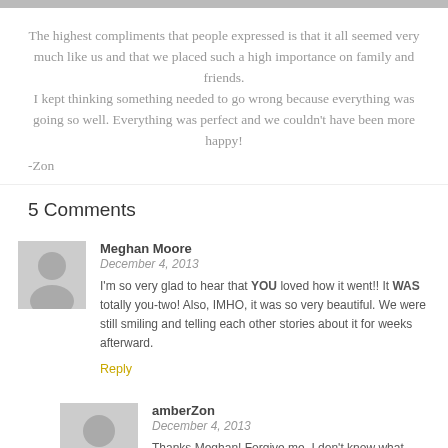The highest compliments that people expressed is that it all seemed very much like us and that we placed such a high importance on family and friends. I kept thinking something needed to go wrong because everything was going so well. Everything was perfect and we couldn't have been more happy!
-Zon
5 Comments
Meghan Moore
December 4, 2013
I'm so very glad to hear that YOU loved how it went!! It WAS totally you-two! Also, IMHO, it was so very beautiful. We were still smiling and telling each other stories about it for weeks afterward.
Reply
amberZon
December 4, 2013
Thanks Meghan! Forgive me, I don't know what IMHO is. haha am i an idiot?